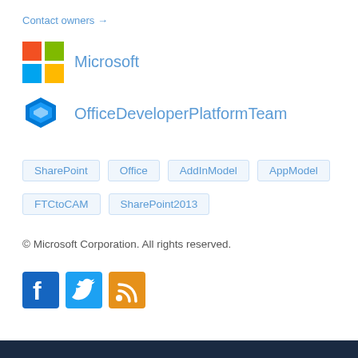Contact owners →
[Figure (logo): Microsoft 4-color logo (red, green, blue, yellow squares)]
Microsoft
[Figure (logo): OfficeDeveloperPlatformTeam blue hexagon logo]
OfficeDeveloperPlatformTeam
SharePoint
Office
AddInModel
AppModel
FTCtoCAM
SharePoint2013
© Microsoft Corporation. All rights reserved.
[Figure (other): Social media icons: Facebook (blue), Twitter (blue), RSS feed (orange)]